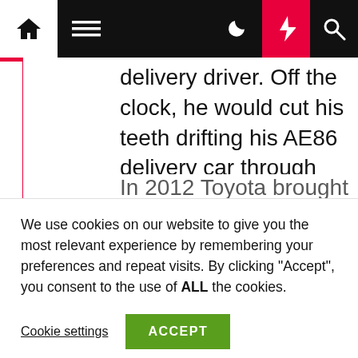Navigation bar with home, menu, moon, bolt, and search icons
delivery driver. Off the clock, he would cut his teeth drifting his AE86 delivery car through the tight corners of Mt. Akina. After several anime adaptations of the manga along with a movie trilogy, the 86 was cemented as a drifting icon.
We use cookies on our website to give you the most relevant experience by remembering your preferences and repeat visits. By clicking "Accept", you consent to the use of ALL the cookies.
Cookie settings
ACCEPT